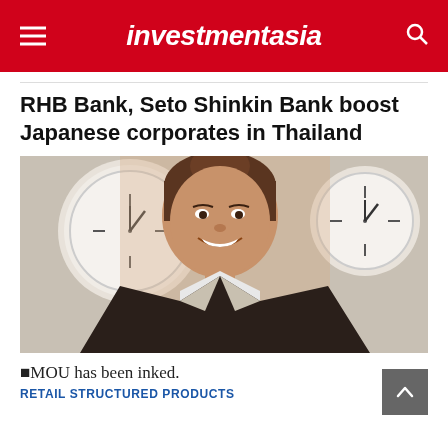investmentasia
RHB Bank, Seto Shinkin Bank boost Japanese corporates in Thailand
[Figure (photo): A smiling woman in a dark business suit standing in front of two analog wall clocks in an office setting.]
■MOU has been inked.
RETAIL STRUCTURED PRODUCTS